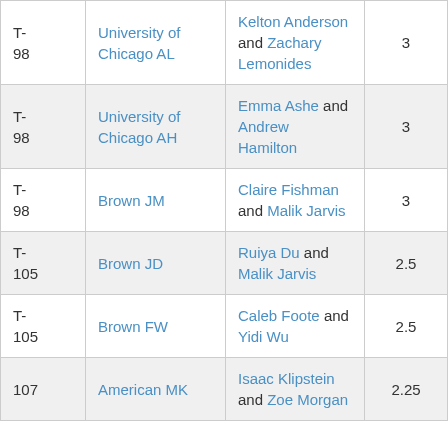| Rank | Team | Players | Score |
| --- | --- | --- | --- |
| T-98 | University of Chicago AL | Kelton Anderson and Zachary Lemonides | 3 |
| T-98 | University of Chicago AH | Emma Ashe and Andrew Hamilton | 3 |
| T-98 | Brown JM | Claire Fishman and Malik Jarvis | 3 |
| T-105 | Brown JD | Ruiya Du and Malik Jarvis | 2.5 |
| T-105 | Brown FW | Caleb Foote and Yidi Wu | 2.5 |
| 107 | American MK | Isaac Klipstein and Zoe Morgan | 2.25 |